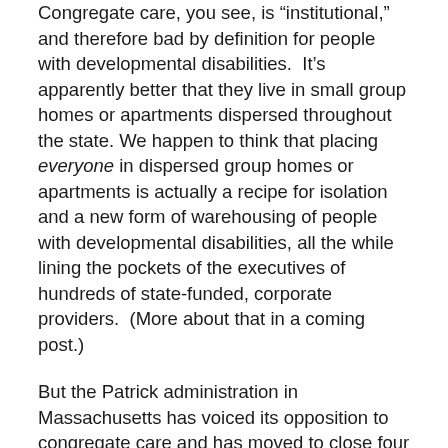Congregate care, you see, is "institutional," and therefore bad by definition for people with developmental disabilities. It's apparently better that they live in small group homes or apartments dispersed throughout the state. We happen to think that placing everyone in dispersed group homes or apartments is actually a recipe for isolation and a new form of warehousing of people with developmental disabilities, all the while lining the pockets of the executives of hundreds of state-funded, corporate providers. (More about that in a coming post.)
But the Patrick administration in Massachusetts has voiced its opposition to congregate care and has moved to close four out of six remaining developmental centers in this state. Two of those centers have now been shut and most the residents have moved either to one of the two remaining centers or to group homes throughout the